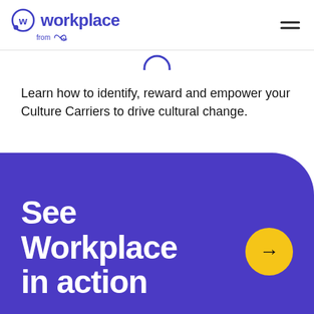Workplace from Meta
Learn how to identify, reward and empower your Culture Carriers to drive cultural change.
See Workplace in action